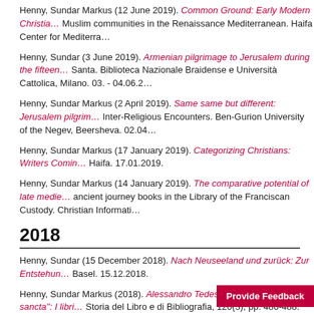Henny, Sundar Markus (12 June 2019). Common Ground: Early Modern Christian… Muslim communities in the Renaissance Mediterranean. Haifa Center for Mediterra…
Henny, Sundar (3 June 2019). Armenian pilgrimage to Jerusalem during the fifteen… Santa. Biblioteca Nazionale Braidense e Università Cattolica, Milano. 03. - 04.06.2…
Henny, Sundar Markus (2 April 2019). Same same but different: Jerusalem pilgrim… Inter-Religious Encounters. Ben-Gurion University of the Negev, Beersheva. 02.04…
Henny, Sundar Markus (17 January 2019). Categorizing Christians: Writers Comin… Haifa. 17.01.2019.
Henny, Sundar Markus (14 January 2019). The comparative potential of late medie… ancient journey books in the Library of the Franciscan Custody. Christian Informati…
2018
Henny, Sundar (15 December 2018). Nach Neuseeland und zurück: Zur Entstehun… Basel. 15.12.2018.
Henny, Sundar Markus (2018). Alessandro Tedesco, "Itinera ad loca sancta": I libri… Storia del Libro e di Bibliografia, 120(3), pp. 486-488. Olschki
Henny, Sundar Markus (10 September 2018). The Engaged Comparatist: Bartholo… Hospice, Jerusalem. 10. - 11.09.2018.
Henny, Sundar Markus (2 May 2018). Other Christians: Latin… 02.05.2018.